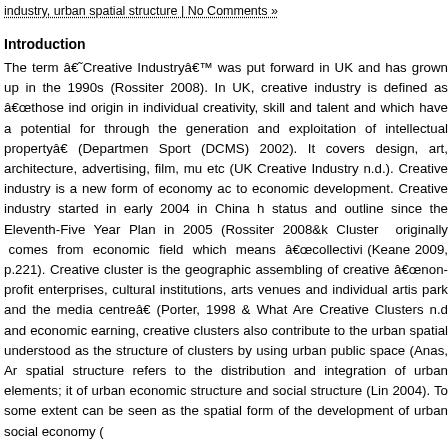industry, urban spatial structure | No Comments »
Introduction
The term â€˜Creative Industryâ€™ was put forward in UK and has grown up in the 1990s (Rossiter 2008). In UK, creative industry is defined as â€œthose industries which have their origin in individual creativity, skill and talent and which have a potential for wealth creation through the generation and exploitation of intellectual propertyâ€ (Department for Culture, Media and Sport (DCMS) 2002). It covers design, art, architecture, advertising, film, music, publishing, etc (UK Creative Industry n.d.). Creative industry is a new form of economy and it contributes to economic development. Creative industry started in early 2004 in China has gained its status and outline since the Eleventh-Five Year Plan in 2005 (Rossiter 2008&k...). Cluster originally comes from economic field which means â€œcollectivi...â€ (Keane 2009, p.221). Creative cluster is the geographic assembling of creative... â€œnon-profit enterprises, cultural institutions, arts venues and individual artis... park and the media centreâ€ (Porter, 1998 & What Are Creative Clusters n.d...). and economic earning, creative clusters also contribute to the urban spatial... understood as the structure of clusters by using urban public space (Anas, Ar... spatial structure refers to the distribution and integration of urban elements; it... of urban economic structure and social structure (Lin 2004). To some extent... can be seen as the spatial form of the development of urban social economy (